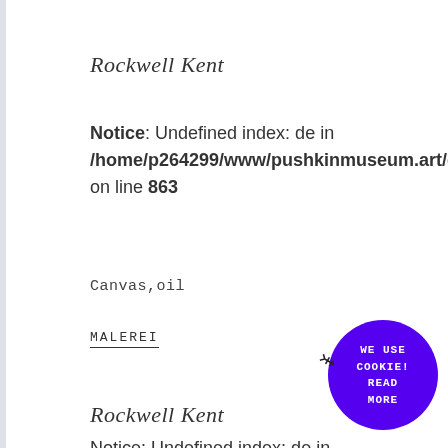Rockwell Kent
Notice: Undefined index: de in /home/p264299/www/pushkinmuseum.art/data/fo... on line 863
Canvas,oil
MALEREI
Rockwell Kent
Notice: Undefined index: de in
[Figure (other): Purple circular cookie notice button with text 'WE USE COOKIE! READ MORE']